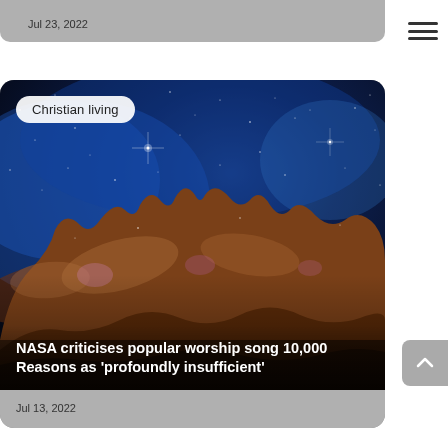Jul 23, 2022
[Figure (photo): NASA James Webb Space Telescope image of the Carina Nebula showing star-forming region with towering pillars of gas and dust against a blue starfield]
Christian living
NASA criticises popular worship song 10,000 Reasons as 'profoundly insufficient'
Jul 13, 2022